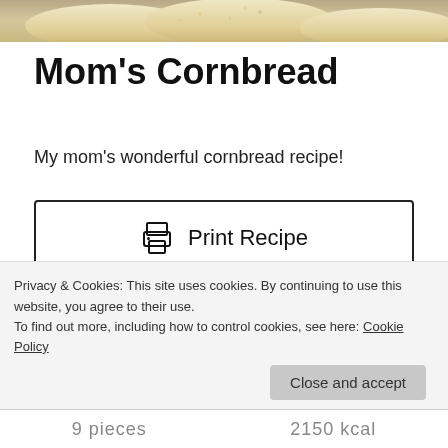[Figure (photo): Partial photo of cornbread at the top of the page]
Mom's Cornbread
My mom's wonderful cornbread recipe!
Print Recipe
Pin Recipe
Privacy & Cookies: This site uses cookies. By continuing to use this website, you agree to their use.
To find out more, including how to control cookies, see here: Cookie Policy
Close and accept
9 pieces   2150 kcal